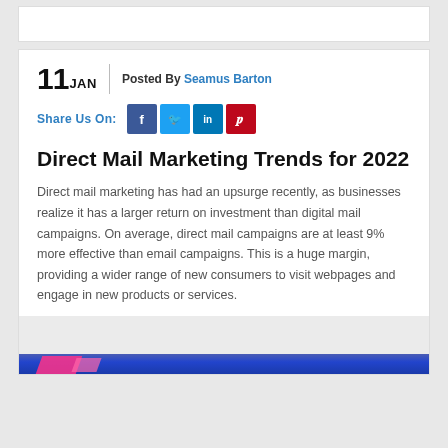11 JAN  Posted By Seamus Barton
Share Us On:
Direct Mail Marketing Trends for 2022
Direct mail marketing has had an upsurge recently, as businesses realize it has a larger return on investment than digital mail campaigns. On average, direct mail campaigns are at least 9% more effective than email campaigns. This is a huge margin, providing a wider range of new consumers to visit webpages and engage in new products or services.
[Figure (photo): Partial image visible at bottom of page showing a colorful marketing-related graphic with blue background and pink/magenta accent shapes]